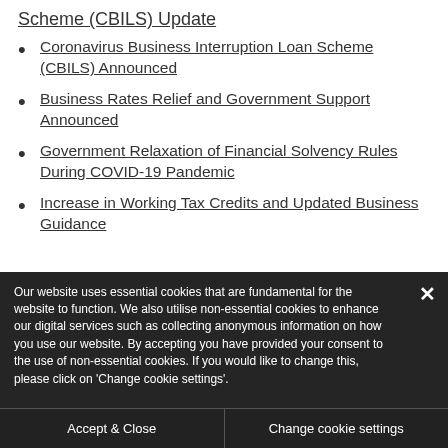Scheme (CBILS) Update
Coronavirus Business Interruption Loan Scheme (CBILS) Announced
Business Rates Relief and Government Support Announced
Government Relaxation of Financial Solvency Rules During COVID-19 Pandemic
Increase in Working Tax Credits and Updated Business Guidance
Our website uses essential cookies that are fundamental for the website to function. We also utilise non-essential cookies to enhance our digital services such as collecting anonymous information on how you use our website. By accepting you have provided your consent to the use of non-essential cookies. If you would like to change this, please click on 'Change cookie settings'.
Accept & Close
Change cookie settings